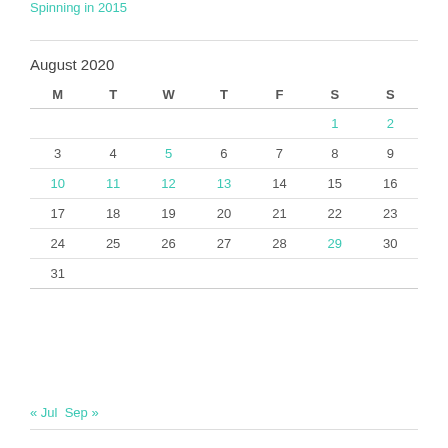Spinning in 2015
| M | T | W | T | F | S | S |
| --- | --- | --- | --- | --- | --- | --- |
|  |  |  |  |  | 1 | 2 |
| 3 | 4 | 5 | 6 | 7 | 8 | 9 |
| 10 | 11 | 12 | 13 | 14 | 15 | 16 |
| 17 | 18 | 19 | 20 | 21 | 22 | 23 |
| 24 | 25 | 26 | 27 | 28 | 29 | 30 |
| 31 |  |  |  |  |  |  |
« Jul  Sep »